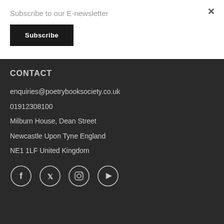Subscribe to our E-newsletter
Subscribe
CONTACT
enquiries@poetrybooksociety.co.uk
01912308100
Milburn House, Dean Street
Newcastle Upon Tyne England
NE1 1LF United Kingdom
[Figure (infographic): Four social media icons in circles: Facebook, Twitter, Instagram, YouTube]